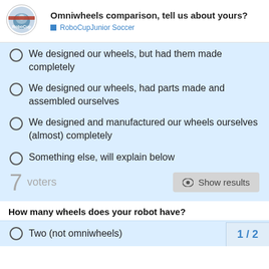Omniwheels comparison, tell us about yours? RoboCupJunior Soccer
We designed our wheels, but had them made completely
We designed our wheels, had parts made and assembled ourselves
We designed and manufactured our wheels ourselves (almost) completely
Something else, will explain below
7 voters
Show results
How many wheels does your robot have?
Two (not omniwheels)
1 / 2